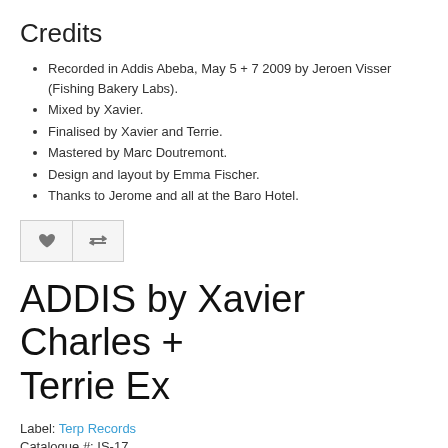Credits
Recorded in Addis Abeba, May 5 + 7 2009 by Jeroen Visser (Fishing Bakery Labs).
Mixed by Xavier.
Finalised by Xavier and Terrie.
Mastered by Marc Doutremont.
Design and layout by Emma Fischer.
Thanks to Jerome and all at the Baro Hotel.
ADDIS by Xavier Charles + Terrie Ex
Label: Terp Records
Catalogue #: IS-17
Availability: In Stock
€10.00
€5.00